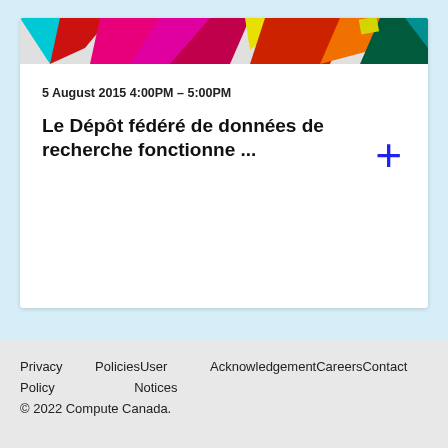[Figure (illustration): Colorful geometric/polygonal banner strip with bright overlapping triangles in cyan, red, pink, magenta, yellow, orange, green, and teal colors.]
5 August 2015 4:00PM – 5:00PM
Le Dépôt fédéré de données de recherche fonctionne ...
Privacy Policy   PoliciesUser Notices   AcknowledgementCareersContact
© 2022 Compute Canada.